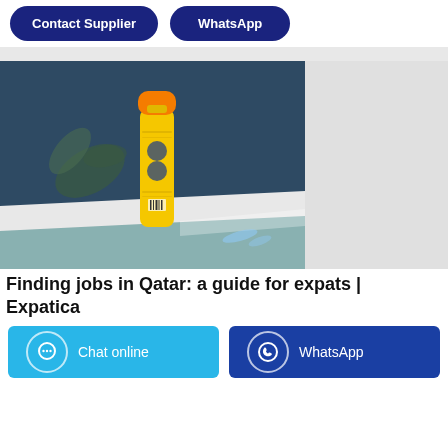Contact Supplier
WhatsApp
[Figure (photo): A yellow aerosol spray can with an orange cap standing upright on a white surface against a dark blue background with a plant branch to the left.]
Finding jobs in Qatar: a guide for expats | Expatica
Chat online
WhatsApp